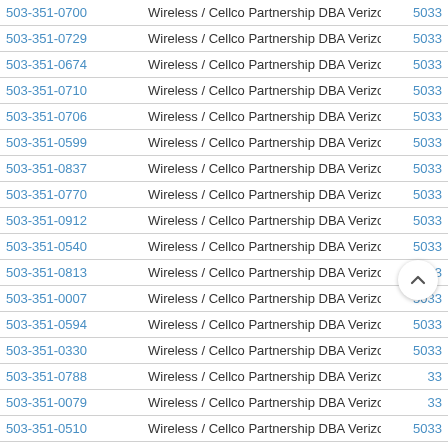| Phone | Carrier | Code |
| --- | --- | --- |
| 503-351-0700 | Wireless / Cellco Partnership DBA Verizon Wireless | 5033 |
| 503-351-0729 | Wireless / Cellco Partnership DBA Verizon Wireless | 5033 |
| 503-351-0674 | Wireless / Cellco Partnership DBA Verizon Wireless | 5033 |
| 503-351-0710 | Wireless / Cellco Partnership DBA Verizon Wireless | 5033 |
| 503-351-0706 | Wireless / Cellco Partnership DBA Verizon Wireless | 5033 |
| 503-351-0599 | Wireless / Cellco Partnership DBA Verizon Wireless | 5033 |
| 503-351-0837 | Wireless / Cellco Partnership DBA Verizon Wireless | 5033 |
| 503-351-0770 | Wireless / Cellco Partnership DBA Verizon Wireless | 5033 |
| 503-351-0912 | Wireless / Cellco Partnership DBA Verizon Wireless | 5033 |
| 503-351-0540 | Wireless / Cellco Partnership DBA Verizon Wireless | 5033 |
| 503-351-0813 | Wireless / Cellco Partnership DBA Verizon Wireless | 5033 |
| 503-351-0007 | Wireless / Cellco Partnership DBA Verizon Wireless | 5033 |
| 503-351-0594 | Wireless / Cellco Partnership DBA Verizon Wireless | 5033 |
| 503-351-0330 | Wireless / Cellco Partnership DBA Verizon Wireless | 5033 |
| 503-351-0788 | Wireless / Cellco Partnership DBA Verizon Wireless | 5033 |
| 503-351-0079 | Wireless / Cellco Partnership DBA Verizon Wireless | 33 |
| 503-351-0510 | Wireless / Cellco Partnership DBA Verizon Wireless | 5033 |
| 503-351-0654 | Wireless / Cellco Partnership DBA Verizon Wireless | 5033 |